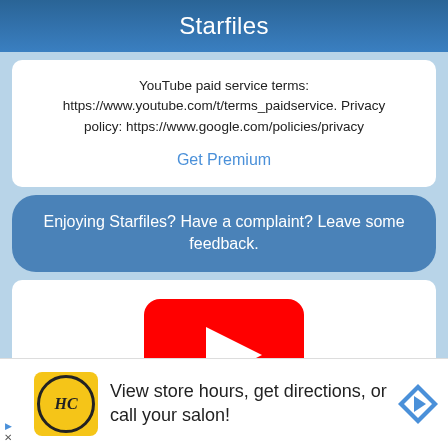Starfiles
YouTube paid service terms: https://www.youtube.com/t/terms_paidservice. Privacy policy: https://www.google.com/policies/privacy
Get Premium
Enjoying Starfiles? Have a complaint? Leave some feedback.
[Figure (screenshot): YouTube play button logo (red rounded rectangle with white triangle) displayed inside a white card, with a collapse chevron button at bottom left]
[Figure (infographic): Advertisement bar: HC logo in yellow circle, text 'View store hours, get directions, or call your salon!', blue diamond navigation arrow icon, with ad controls (triangle and X)]